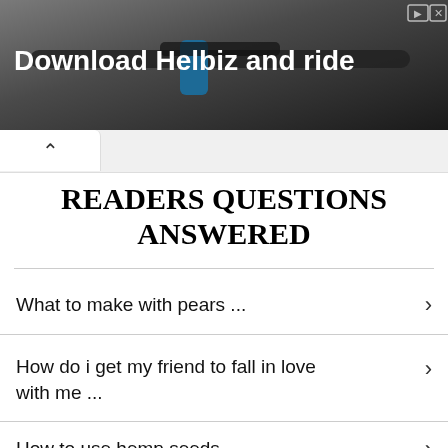[Figure (photo): Advertisement banner showing bicycle handlebars with text 'Download Helbiz and ride' in white bold font on a dark background. Close/skip icons visible in top right.]
READERS QUESTIONS ANSWERED
What to make with pears ...
How do i get my friend to fall in love with me ...
How to use hemp seeds ...